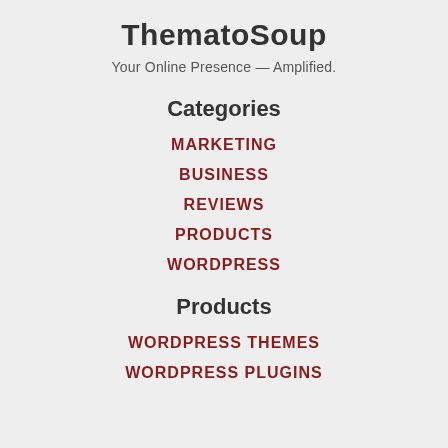ThematoSoup
Your Online Presence — Amplified.
Categories
MARKETING
BUSINESS
REVIEWS
PRODUCTS
WORDPRESS
Products
WORDPRESS THEMES
WORDPRESS PLUGINS